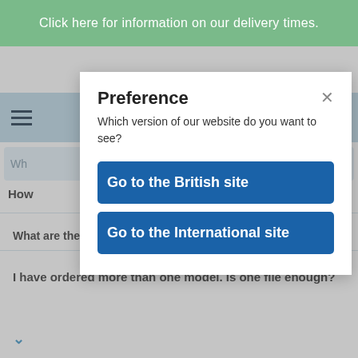Click here for information on our delivery times.
[Figure (screenshot): Website navigation bar with hamburger menu, blue search bar, and cart icon showing 0 items]
[Figure (screenshot): Modal dialog titled Preference with close button, description text, and two blue buttons: Go to the British site and Go to the International site]
What are the picture requirements?
I have ordered more than one model. Is one file enough?